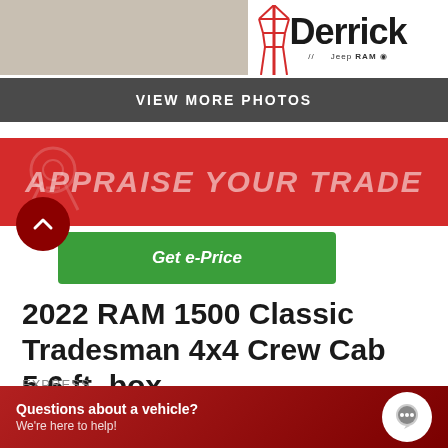[Figure (photo): Partial view of a RAM truck on a lot with Derrick dealership logo (Jeep/RAM) in top-right corner]
VIEW MORE PHOTOS
[Figure (infographic): Red banner reading APPRAISE YOUR TRADE with key icon and scroll-up button; green Get e-Price button]
2022 RAM 1500 Classic Tradesman 4x4 Crew Cab 5.6 ft. box
EXPRESS
MSRP: $61,185
$56,185
Questions about a vehicle? We're here to help!